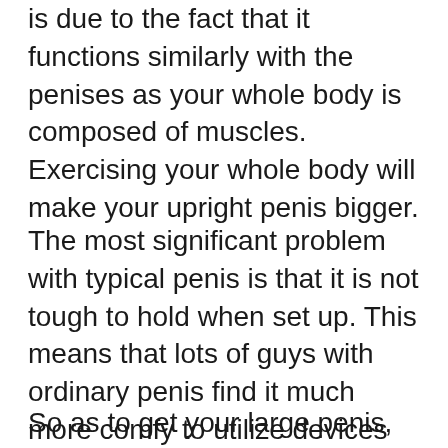is due to the fact that it functions similarly with the penises as your whole body is composed of muscles. Exercising your whole body will make your upright penis bigger.
The most significant problem with typical penis is that it is not tough to hold when set up. This means that lots of guys with ordinary penis find it much more comfy to utilize devices like vacuum pumps to obtain their big penis put up. This method frequently helps them get about eight inches. If you obtain an erection, you can then utilize a vacuum to suck the blood from your root to your head. This should give you an optimum of eighteen inches when erect.
So as to get your large penis, you need to